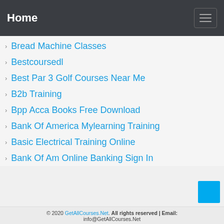Home
Bread Machine Classes
Bestcoursedl
Best Par 3 Golf Courses Near Me
B2b Training
Bpp Acca Books Free Download
Bank Of America Mylearning Training
Basic Electrical Training Online
Bank Of Am Online Banking Sign In
© 2020 GetAllCourses.Net. All rights reserved | Email: info@GetAllCourses.Net